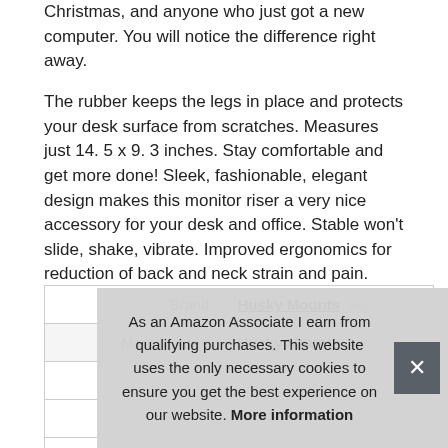Christmas, and anyone who just got a new computer. You will notice the difference right away.
The rubber keeps the legs in place and protects your desk surface from scratches. Measures just 14. 5 x 9. 3 inches. Stay comfortable and get more done! Sleek, fashionable, elegant design makes this monitor riser a very nice accessory for your desk and office. Stable won't slide, shake, vibrate. Improved ergonomics for reduction of back and neck strain and pain. Holds up to 44 pounds including most monitors.
|  |  |
| --- | --- |
| Brand | Husky Mounts #ad |
| Manufacturer | Husky Mounts #ad |
|  |  |
|  |  |
|  |  |
As an Amazon Associate I earn from qualifying purchases. This website uses the only necessary cookies to ensure you get the best experience on our website. More information